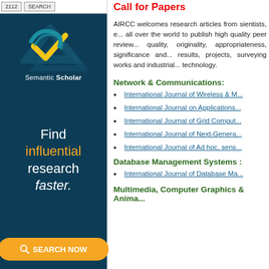[Figure (logo): Semantic Scholar logo with stylized S and checkmark, teal/blue/yellow on dark background]
Find influential research faster.
Call for Papers
AIRCC welcomes research articles from sientists, e... all over the world to publish high quality peer review... quality, originality, appropriateness, significance and... results, projects, surveying works and industrial... technology.
Network & Communications:
International Journal of Wireless & M...
International Journal on Applications...
International Journal of Grid Comput...
International Journal of Next-Genera...
International Journal of Ad hoc, sens...
Database Management Systems :
International Journal of Database Ma...
Multimedia, Computer Graphics & Anima...